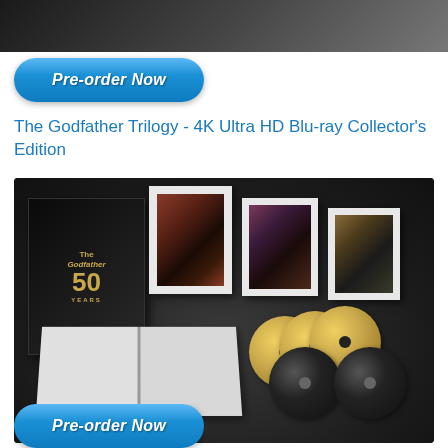[Figure (photo): Top portion of a product image, cropped — dark product box on light background]
[Figure (illustration): Blue rounded rectangle button with white bold italic text 'Pre-order Now']
The Godfather Trilogy - 4K Ultra HD Blu-ray Collector's Edition
[Figure (photo): The Godfather Trilogy 4K Ultra HD Blu-ray Collector's Edition product spread showing black box set with gold '50 Years' logo, three framed portrait prints of the main characters, an open photo book, and five discs (3 gold 4K UHD and 2 black Blu-ray) arranged on a dark background]
[Figure (illustration): Blue rounded rectangle button with white bold italic text 'Pre-order Now' — partially cropped at bottom of page]